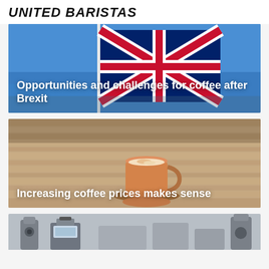UNITED BARISTAS
[Figure (photo): UK Union Jack flag waving against a bright blue sky, with flagpole visible]
Opportunities and challenges for coffee after Brexit
[Figure (photo): A latte or flat white coffee drink in a glass cup on a wooden table surface]
Increasing coffee prices makes sense
[Figure (photo): Coffee equipment/machines on a counter, partially visible at bottom of page]